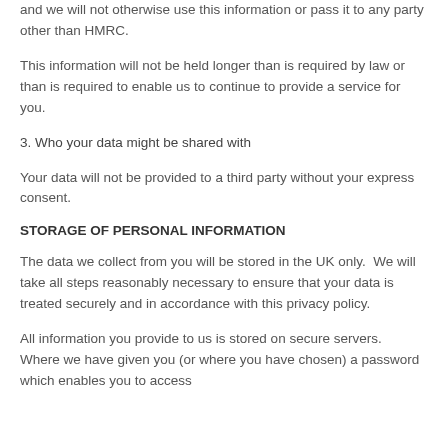and we will not otherwise use this information or pass it to any party other than HMRC.
This information will not be held longer than is required by law or than is required to enable us to continue to provide a service for you.
3. Who your data might be shared with
Your data will not be provided to a third party without your express consent.
STORAGE OF PERSONAL INFORMATION
The data we collect from you will be stored in the UK only.  We will take all steps reasonably necessary to ensure that your data is treated securely and in accordance with this privacy policy.
All information you provide to us is stored on secure servers.  Where we have given you (or where you have chosen) a password which enables you to access